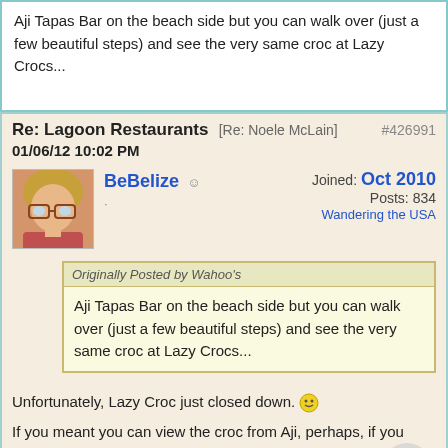Aji Tapas Bar on the beach side but you can walk over (just a few beautiful steps) and see the very same croc at Lazy Crocs...
Re: Lagoon Restaurants [Re: Noele McLain] #426991
01/06/12 10:02 PM
BeBelize - Joined: Oct 2010 - Posts: 834 - Wandering the USA
Originally Posted by Wahoo's
Aji Tapas Bar on the beach side but you can walk over (just a few beautiful steps) and see the very same croc at Lazy Crocs...
Unfortunately, Lazy Croc just closed down.
If you meant you can view the croc from Aji, perhaps, if you walk back over the bridge to the little guest houses on the road side. But the croc pond is not viewable from the tables in Aji.